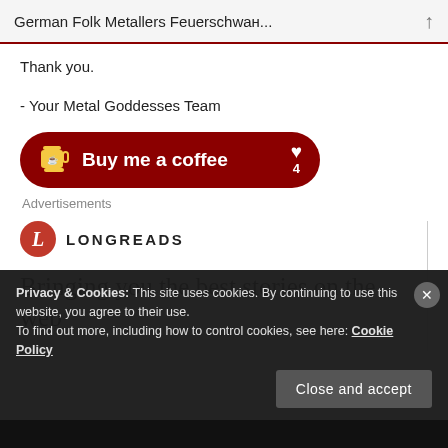German Folk Metallers Feuerschwан...
Thank you.
- Your Metal Goddesses Team
[Figure (other): Buy me a coffee button with coffee cup icon and heart with count 4, dark red rounded rectangle button]
Advertisements
[Figure (other): Longreads advertisement with circular red logo showing L, LONGREADS text, and tagline 'Bringing you the best stories on the web']
Privacy & Cookies: This site uses cookies. By continuing to use this website, you agree to their use.
To find out more, including how to control cookies, see here: Cookie Policy
Close and accept